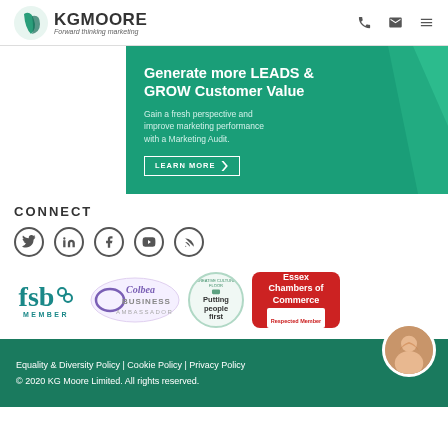KG Moore – Forward thinking marketing
[Figure (screenshot): KG Moore marketing agency website banner: Generate more LEADS & GROW Customer Value. Gain a fresh perspective and improve marketing performance with a Marketing Audit. LEARN MORE button.]
CONNECT
[Figure (illustration): Social media icons: Twitter, LinkedIn, Facebook, YouTube, RSS feed]
[Figure (logo): Member logos: FSB Member, Colbea Business Ambassador, Putting People First, Essex Chambers of Commerce Respected Member]
Equality & Diversity Policy | Cookie Policy | Privacy Policy
© 2020 KG Moore Limited. All rights reserved.